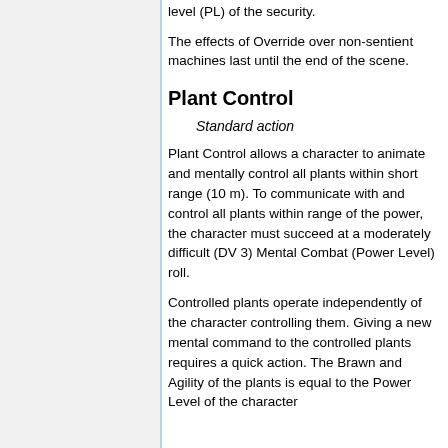level (PL) of the security.
The effects of Override over non-sentient machines last until the end of the scene.
Plant Control
Standard action
Plant Control allows a character to animate and mentally control all plants within short range (10 m). To communicate with and control all plants within range of the power, the character must succeed at a moderately difficult (DV 3) Mental Combat (Power Level) roll.
Controlled plants operate independently of the character controlling them. Giving a new mental command to the controlled plants requires a quick action. The Brawn and Agility of the plants is equal to the Power Level of the character